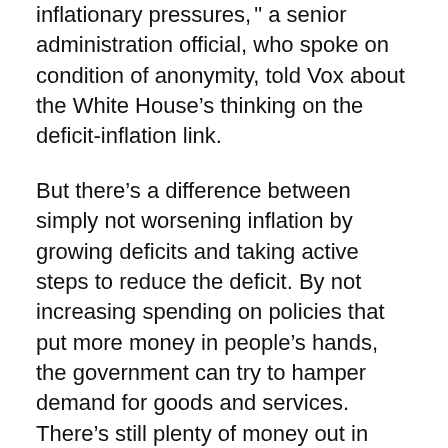inflationary pressures," a senior administration official, who spoke on condition of anonymity, told Vox about the White House's thinking on the deficit-inflation link.
But there's a difference between simply not worsening inflation by growing deficits and taking active steps to reduce the deficit. By not increasing spending on policies that put more money in people's hands, the government can try to hamper demand for goods and services. There's still plenty of money out in savings accounts and the coffers of state and local governments that will make this a challenge — and supply chain and logistics concerns that can't just be solved by cutting spending and raising taxes — but the White House is suggesting a handful of reforms in a renewed economic message it is calling out this month.